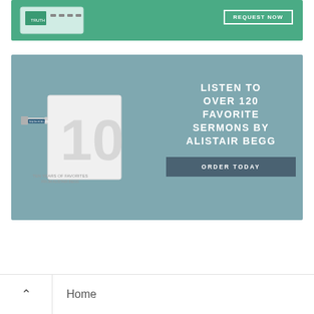[Figure (screenshot): Green banner ad with a device image on the left and a 'Request Now' button on the right]
[Figure (screenshot): Teal/blue-gray banner ad featuring a USB drive and CD product labeled '10 Ten Years of Favorites from Alistair Begg' with text 'LISTEN TO OVER 120 FAVORITE SERMONS BY ALISTAIR BEGG' and an 'ORDER TODAY' button]
Home